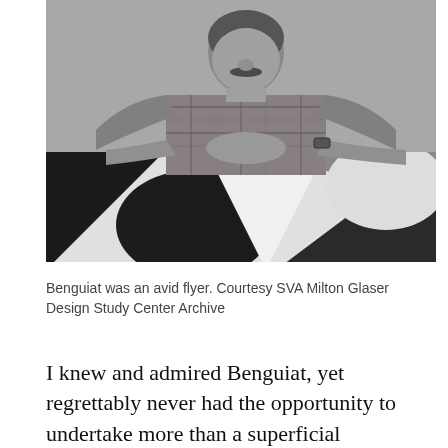[Figure (photo): Black and white photograph of a man in a plaid shirt leaning forward with his arms resting on a surface featuring bold geometric black and white shapes (circles and triangles). The man has a mustache and is wearing a watch.]
Benguiat was an avid flyer. Courtesy SVA Milton Glaser Design Study Center Archive
I knew and admired Benguiat, yet regrettably never had the opportunity to undertake more than a superficial biographical peak into his career. So for more in-depth information, read the aforementioned coverage online, listen to